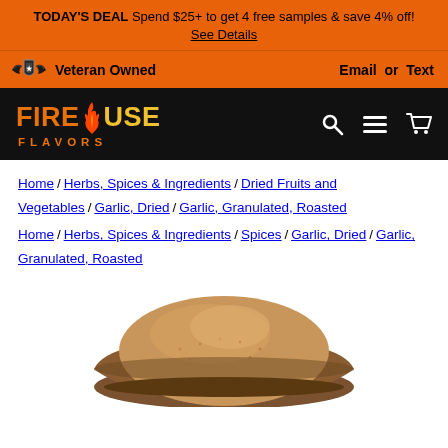TODAY'S DEAL Spend $25+ to get 4 free samples & save 4% off! See Details
Veteran Owned   Email or Text
[Figure (logo): Firehouse Flavors logo on black background with search, menu, and cart icons]
Home / Herbs, Spices & Ingredients / Dried Fruits and Vegetables / Garlic, Dried / Garlic, Granulated, Roasted
Home / Herbs, Spices & Ingredients / Spices / Garlic, Dried / Garlic, Granulated, Roasted
[Figure (photo): A mound of granulated roasted garlic powder piled in a wooden bowl, viewed from slightly above, on a white background]